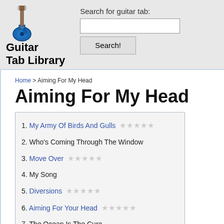[Figure (logo): Blue electric guitar icon]
Guitar Tab Library (v5)
Search for guitar tab:
Home > Aiming For My Head
Aiming For My Head
1. My Army Of Birds And Gulls ★★★★★
2. Who's Coming Through The Window
3. Move Over ★★★★★
4. My Song
5. Diversions ★★★★★
6. Aiming For Your Head ★★★★★
7. The Ocean Is The Cure